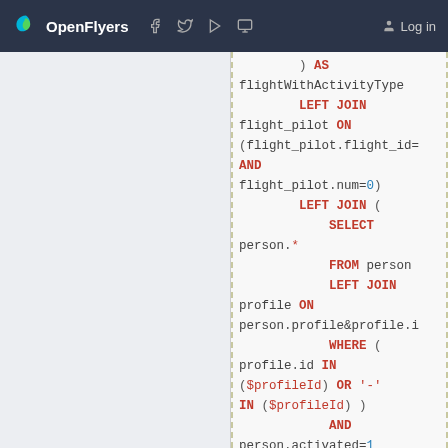OpenFlyers | Log in
[Figure (screenshot): SQL code snippet showing a LEFT JOIN query with flightWithActivityType, flight_pilot, person, profile tables, including WHERE clause with $profileId, GROUP BY person.id, resulting in personWithProfile alias.]